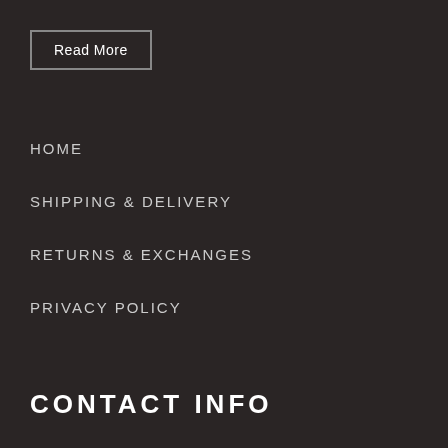Read More
HOME
SHIPPING & DELIVERY
RETURNS & EXCHANGES
PRIVACY POLICY
CONTACT INFO